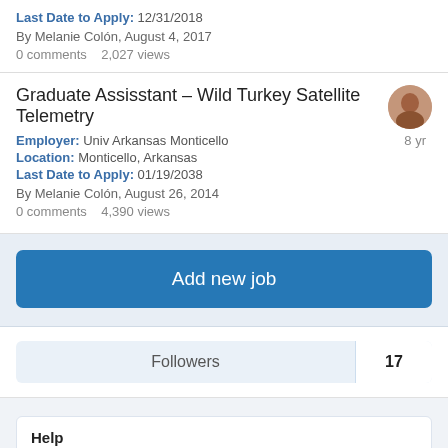Last Date to Apply: 12/31/2018
By Melanie Colón, August 4, 2017
0 comments   2,027 views
Graduate Assisstant – Wild Turkey Satellite Telemetry
Employer: Univ Arkansas Monticello
Location: Monticello, Arkansas
Last Date to Apply: 01/19/2038
By Melanie Colón, August 26, 2014
0 comments   4,390 views
8 yr
Add new job
Followers  17
Help